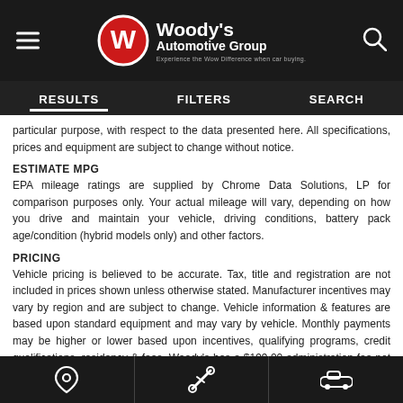[Figure (logo): Woody's Automotive Group logo with red W circle badge and white text]
RESULTS   FILTERS   SEARCH
particular purpose, with respect to the data presented here. All specifications, prices and equipment are subject to change without notice.
ESTIMATE MPG
EPA mileage ratings are supplied by Chrome Data Solutions, LP for comparison purposes only. Your actual mileage will vary, depending on how you drive and maintain your vehicle, driving conditions, battery pack age/condition (hybrid models only) and other factors.
PRICING
Vehicle pricing is believed to be accurate. Tax, title and registration are not included in prices shown unless otherwise stated. Manufacturer incentives may vary by region and are subject to change. Vehicle information & features are based upon standard equipment and may vary by vehicle. Monthly payments may be higher or lower based upon incentives, qualifying programs, credit qualifications, residency & fees. Woody's has a $199.00 administration fee not required by law. No claims, or warranties are made to guarantee the accuracy of vehicle pricing, payments or actual equipment.